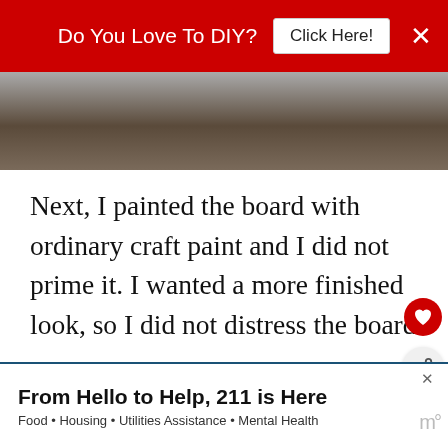Do You Love To DIY?  Click Here!
[Figure (photo): Partial photo of a person, cropped, showing hat and clothing, dark tones]
Next, I painted the board with ordinary craft paint and I did not prime it. I wanted a more finished look, so I did not distress the board in any way, but hitting it with a chain or hammer to dent it up and round out the corners would give it a weathered look.  A little sanding after the paint would also age the piece.
WHAT'S NEXT → Summer Sticker Sign...
From Hello to Help, 211 is Here  Food • Housing • Utilities Assistance • Mental Health